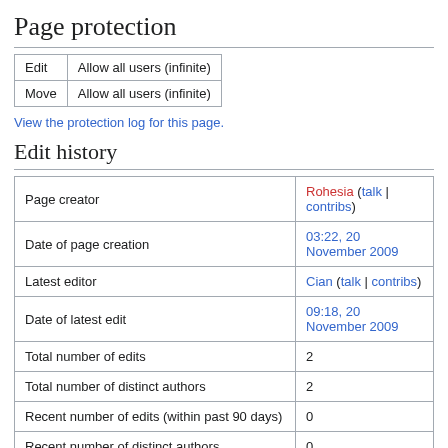Page protection
|  |  |
| --- | --- |
| Edit | Allow all users (infinite) |
| Move | Allow all users (infinite) |
View the protection log for this page.
Edit history
|  |  |
| --- | --- |
| Page creator | Rohesia (talk | contribs) |
| Date of page creation | 03:22, 20 November 2009 |
| Latest editor | Cian (talk | contribs) |
| Date of latest edit | 09:18, 20 November 2009 |
| Total number of edits | 2 |
| Total number of distinct authors | 2 |
| Recent number of edits (within past 90 days) | 0 |
| Recent number of distinct authors | 0 |
Page actions
Page
Discussion